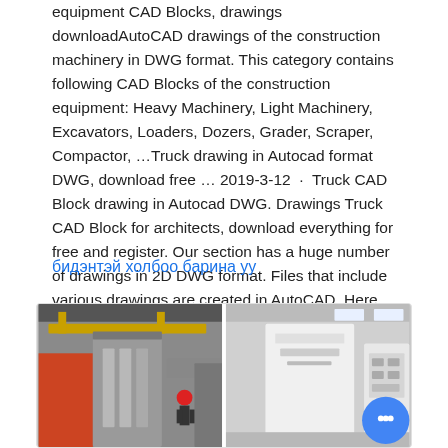equipment CAD Blocks, drawings downloadAutoCAD drawings of the construction machinery in DWG format. This category contains following CAD Blocks of the construction equipment: Heavy Machinery, Light Machinery, Excavators, Loaders, Dozers, Grader, Scraper, Compactor, …Truck drawing in Autocad format DWG, download free … 2019-3-12 · Truck CAD Block drawing in Autocad DWG. Drawings Truck CAD Block for architects, download everything for free and register. Our section has a huge number of drawings in 2D DWG format. Files that include various drawings are created in AutoCAD. Here you will find drawings of refrigerators, awnings, isotherms, an automatic coupler, a container ...
бидэнтэй холбоо барина уу
[Figure (photo): Industrial factory interior showing heavy machinery, a worker in a red helmet, and large equipment panels. Two-part photo composite showing a manufacturing or assembly facility.]